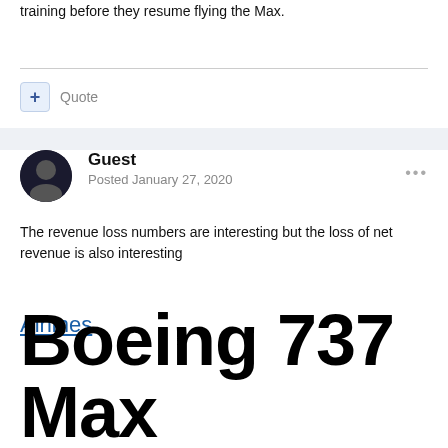training before they resume flying the Max.
Quote
Guest
Posted January 27, 2020
The revenue loss numbers are interesting but the loss of net revenue is also interesting
Airlines
Boeing 737 Max